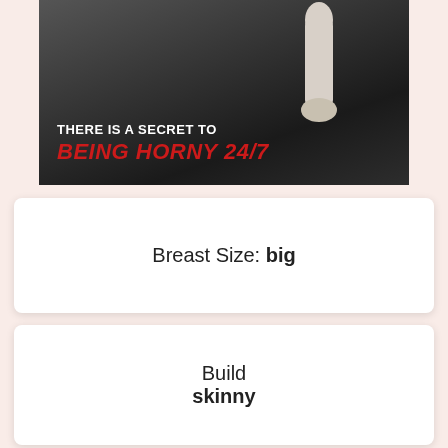[Figure (photo): Black and white advertisement image with a person holding up a finger, overlaid with text: 'THERE IS A SECRET TO BEING HORNY 24/7']
Breast Size: big
Build
skinny